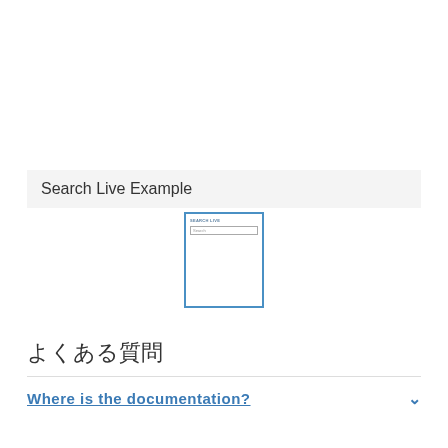Search Live Example
[Figure (screenshot): Screenshot of a 'Search Live' widget showing a search input box with placeholder text 'Search']
よくある質問
Where is the documentation?